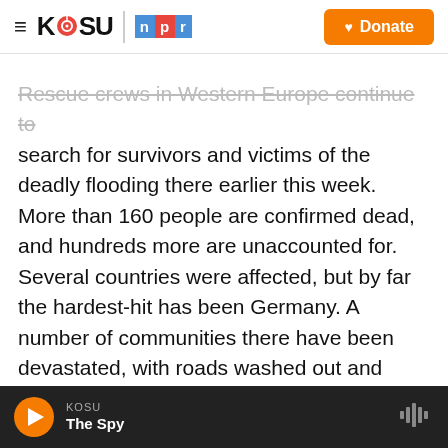KOSU | npr | Donate
Rescue crews in Western Europe continue to search for survivors and victims of the deadly flooding there earlier this week. More than 160 people are confirmed dead, and hundreds more are unaccounted for. Several countries were affected, but by far the hardest-hit has been Germany. A number of communities there have been devastated, with roads washed out and hundreds of homes and businesses destroyed. Many residents whose homes are still standing can't get into them now as authorities keep people away for fear of mudslides. Spinghar Safi had that happen to him today. He is a resident of Erftstadt, a town near
KOSU | The Spy